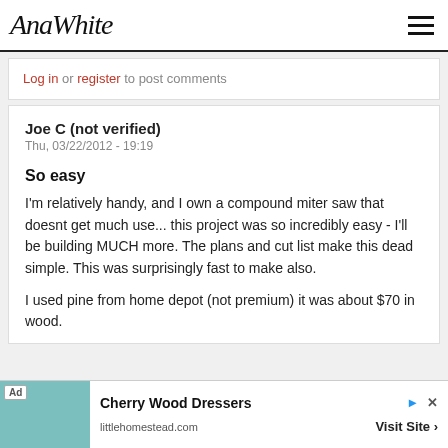AnaWhite
Log in or register to post comments
Joe C (not verified)
Thu, 03/22/2012 - 19:19
So easy
I'm relatively handy, and I own a compound miter saw that doesnt get much use... this project was so incredibly easy - I'll be building MUCH more. The plans and cut list make this dead simple. This was surprisingly fast to make also.
I used pine from home depot (not premium) it was about $70 in wood.
[Figure (screenshot): Advertisement banner for Cherry Wood Dressers from littlehomestead.com with a teal background image, Ad label, Visit Site button]